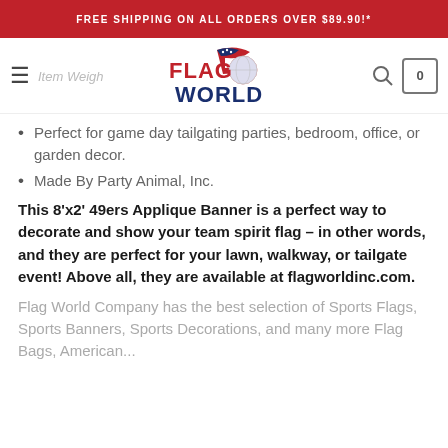FREE SHIPPING ON ALL ORDERS OVER $89.90!*
[Figure (logo): Flag World logo with American flag graphic and colorful globe]
Perfect for game day tailgating parties, bedroom, office, or garden decor.
Made By Party Animal, Inc.
This 8'x2' 49ers Applique Banner is a perfect way to decorate and show your team spirit flag – in other words, and they are perfect for your lawn, walkway, or tailgate event! Above all, they are available at flagworldinc.com.
Flag World Company has the best selection of Sports Flags, Sports Banners, Sports Decorations, and many more Flag Bags, American...